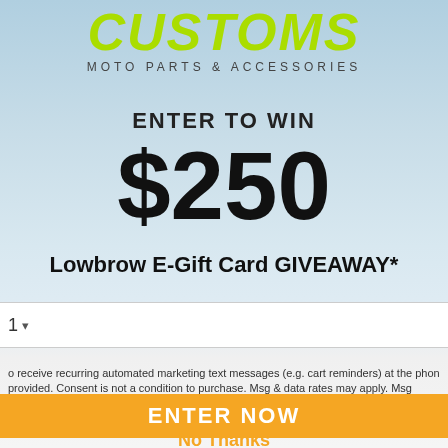[Figure (logo): Lowbrow Customs logo — 'CUSTOMS' in large yellow-green italic bold text, 'MOTO PARTS & ACCESSORIES' in small grey spaced text below]
ENTER TO WIN
$250
Lowbrow E-Gift Card GIVEAWAY*
1 ▾
o receive recurring automated marketing text messages (e.g. cart reminders) at the phon provided. Consent is not a condition to purchase. Msg & data rates may apply. Msg frequen eply HELP for help and STOP to cancel. View our Terms of Service and Privacy Policy.
ENTER NOW
No Thanks